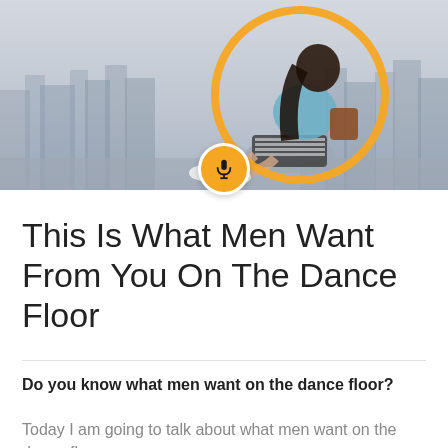[Figure (photo): A young woman with long dark hair wearing a light blue denim jacket, striped skirt and white sneakers, sitting on a ledge with a hazy city skyline behind her. An orange circle graphic overlays the image, and a microphone icon button appears at the bottom center of the image.]
This Is What Men Want From You On The Dance Floor
Do you know what men want on the dance floor?
Today I am going to talk about what men want on the dance floor. It is a hot topic of interest, about it